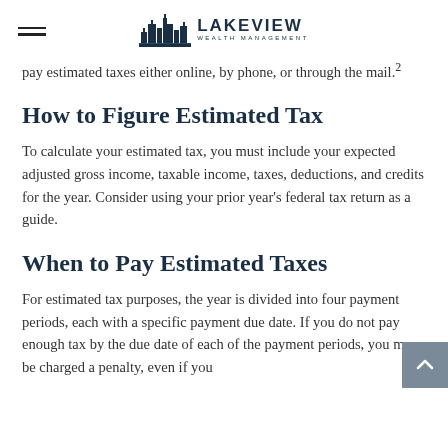LAKEVIEW WEALTH MANAGEMENT
pay estimated taxes either online, by phone, or through the mail.²
How to Figure Estimated Tax
To calculate your estimated tax, you must include your expected adjusted gross income, taxable income, taxes, deductions, and credits for the year. Consider using your prior year's federal tax return as a guide.
When to Pay Estimated Taxes
For estimated tax purposes, the year is divided into four payment periods, each with a specific payment due date. If you do not pay enough tax by the due date of each of the payment periods, you may be charged a penalty, even if you